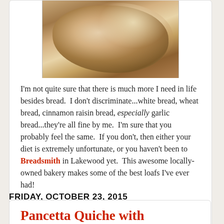[Figure (photo): Close-up photo of rustic artisan bread loaf with floury crust]
I'm not quite sure that there is much more I need in life besides bread.  I don't discriminate...white bread, wheat bread, cinnamon raisin bread, especially garlic bread...they're all fine by me.  I'm sure that you probably feel the same.  If you don't, then either your diet is extremely unfortunate, or you haven't been to Breadsmith in Lakewood yet.  This awesome locally-owned bakery makes some of the best loafs I've ever had!
Unknown at 1:04 PM    6 comments:
Share
FRIDAY, OCTOBER 23, 2015
Pancetta Quiche with Carmelized